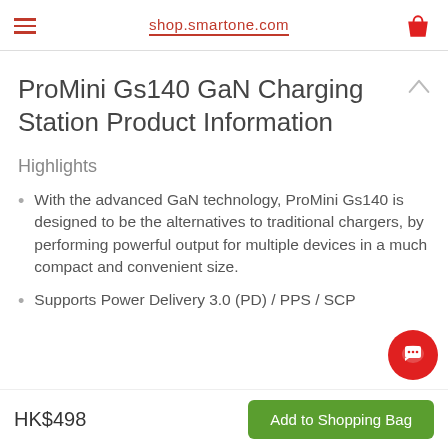shop.smartone.com
ProMini Gs140 GaN Charging Station Product Information
Highlights
With the advanced GaN technology, ProMini Gs140 is designed to be the alternatives to traditional chargers, by performing powerful output for multiple devices in a much compact and convenient size.
Supports Power Delivery 3.0 (PD) / PPS / SCP...
HK$498 | Add to Shopping Bag